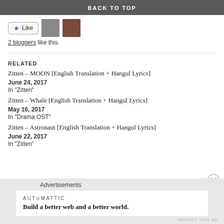BACK TO TOP
[Figure (other): Like button with star icon and two food/avatar thumbnail images]
2 bloggers like this.
RELATED
Zitten – MOON [English Translation + Hangul Lyrics]
June 24, 2017
In "Zitten"
Zitten – Whale [English Translation + Hangul Lyrics]
May 16, 2017
In "Drama OST"
Zitten – Astronaut [English Translation + Hangul Lyrics]
June 22, 2017
In "Zitten"
Advertisements
AUTOMATTIC
Build a better web and a better world.